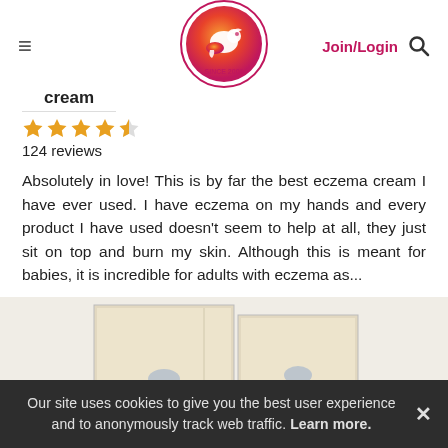[Figure (logo): ChickAdvisor logo — circular gradient orange/red logo with a white bird silhouette, text 'ChickAdvisor SINCE 2006']
≡  Join/Login 🔍
cream
★★★★☆ 4/5
124 reviews
Absolutely in love! This is by far the best eczema cream I have ever used. I have eczema on my hands and every product I have used doesn't seem to help at all, they just sit on top and burn my skin. Although this is meant for babies, it is incredible for adults with eczema as...
[Figure (photo): Two cream/lotion product boxes side by side on a white/light background, cream-colored packaging with a small oval logo badge]
Our site uses cookies to give you the best user experience and to anonymously track web traffic. Learn more.